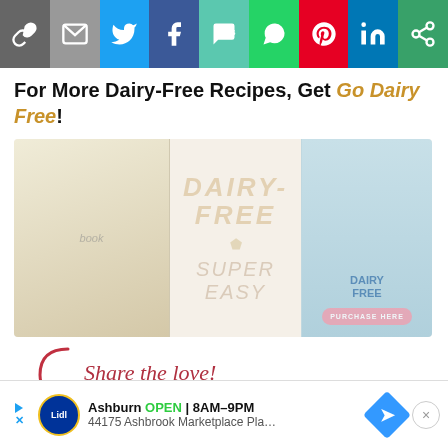[Figure (screenshot): Social media sharing icon bar with icons for link, email, Twitter, Facebook, SMS, WhatsApp, Pinterest, LinkedIn, and More]
For More Dairy-Free Recipes, Get Go Dairy Free!
[Figure (photo): Faded/watermarked book cover for 'Go Dairy Free' showing the book and a 'Dairy Free' badge with a Purchase Here button]
Share the love!
[Figure (infographic): Social sharing buttons: Share (Facebook), Tweet (Twitter), Pin (Pinterest), Share (More)]
[Figure (screenshot): Ad banner: Lidl - Ashburn OPEN 8AM-9PM, 44175 Ashbrook Marketplace Pla...]